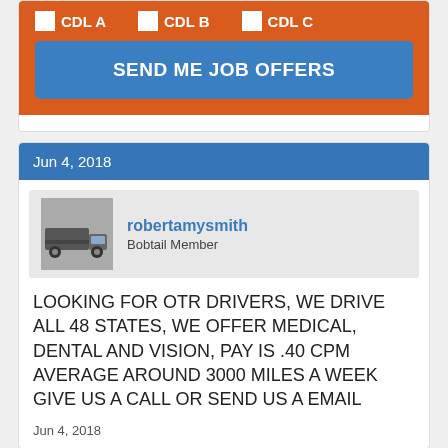CDL A  CDL B  CDL C
SEND ME JOB OFFERS
Jun 4, 2018
robertamysmith
Bobtail Member
LOOKING FOR OTR DRIVERS, WE DRIVE ALL 48 STATES, WE OFFER MEDICAL, DENTAL AND VISION, PAY IS .40 CPM AVERAGE AROUND 3000 MILES A WEEK GIVE US A CALL OR SEND US A EMAIL
Jun 4, 2018
Jun 22, 2018